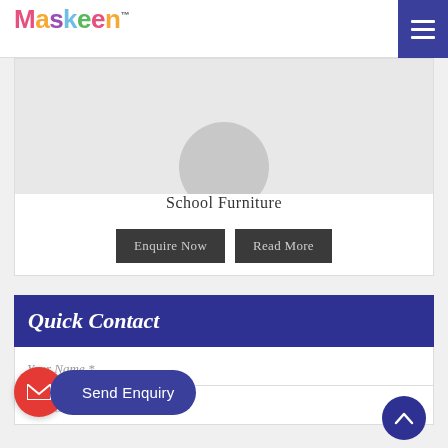Maskeen TM
[Figure (screenshot): Maskeen brand logo with colorful letters and a small character graphic above]
[Figure (screenshot): Hamburger menu icon (three horizontal white lines on dark blue square background)]
[Figure (photo): School Furniture product card with circular grey product image]
School Furniture
Enquire Now
Read More
Quick Contact
Your Name *
Send Enquiry
Your Email Address *